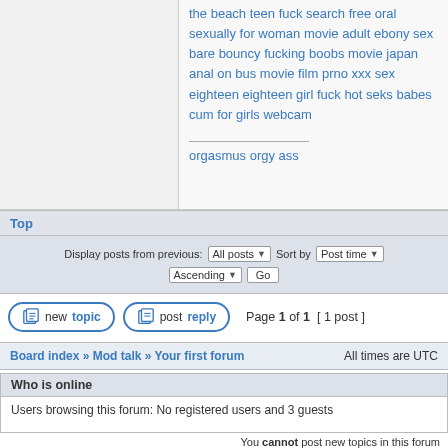the beach teen fuck search free oral sexually for woman movie adult ebony sex bare bouncy fucking boobs movie japan anal on bus movie film prno xxx sex eighteen eighteen girl fuck hot seks babes cum for girls webcam
orgasmus orgy ass
Top
Display posts from previous:  All posts  Sort by  Post time  Ascending  Go
Page 1 of 1  [ 1 post ]
Board index » Mod talk » Your first forum   All times are UTC
Who is online
Users browsing this forum: No registered users and 3 guests
You cannot post new topics in this forum
You cannot reply to topics in this forum